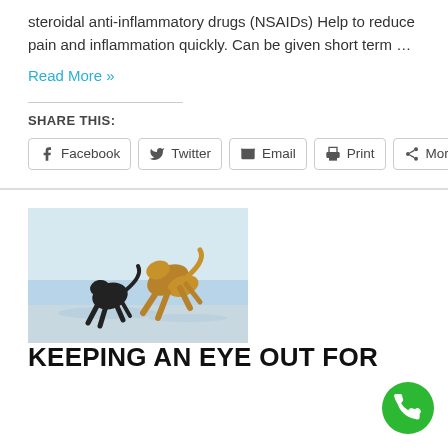steroidal anti-inflammatory drugs (NSAIDs) Help to reduce pain and inflammation quickly. Can be given short term ...
Read More »
SHARE THIS:
Facebook  Twitter  Email  Print  More
[Figure (photo): Two dogs jumping and playing on a beach at the water's edge — one black dog and one golden/brown dog leaping in the air over shallow water with a calm sea and light sky in the background.]
KEEPING AN EYE OUT FOR